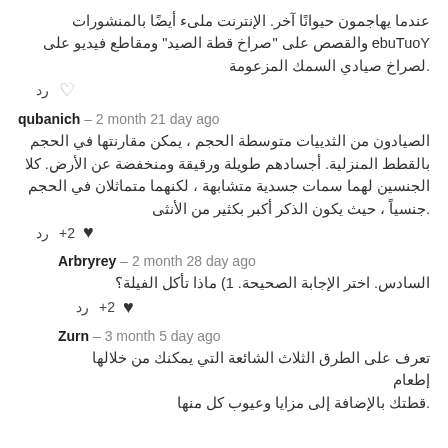عندما يهاجمون حيوانًا آخر. الإنترنت ملىء أيضًا بالمنشورات YouTube والقصص على "صراخ قطة الصيد" ومقاطع فيديو على لصراخ صيادي السمك المزعومة.
رد ♡
qubanich – 2 month 21 day ago
الصيادون من الثدييات متوسطة الحجم ، يمكن مقارنتها في الحجم بالقطط المنزلية. أجسادهم طويلة ورقيقة ومنخفضة عن الأرض. كلا الجنسين لهما سمات جسدية متشابهة ، لكنهما متماثلان في الحجم جنسياً ، حيث يكون الذكر أكبر بكثير من الأنثى.
رد ♥ +2
Arbryrey – 2 month 28 day ago
السادس. اختر الإجابة الصحيحة. 1) ماذا تأكل الفيلة؟
رد ♥ +2
Zurn – 3 month 5 day ago
تعرف على الطرق الثلاث الشائعة التي يمكنك من خلالها إطعام قطتك بالإضافة إلى مزايا وعيوب كل منها.